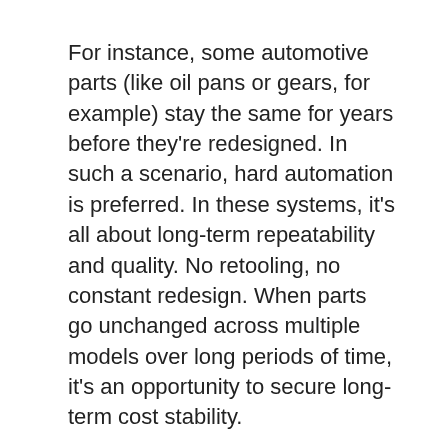For instance, some automotive parts (like oil pans or gears, for example) stay the same for years before they're redesigned. In such a scenario, hard automation is preferred. In these systems, it's all about long-term repeatability and quality. No retooling, no constant redesign. When parts go unchanged across multiple models over long periods of time, it's an opportunity to secure long-term cost stability.
Hard automation is also a good fit when parts are
This website uses cookies to collect information on your interaction with this website. By using this site you consent to our cookies and agree to our privacy policy.